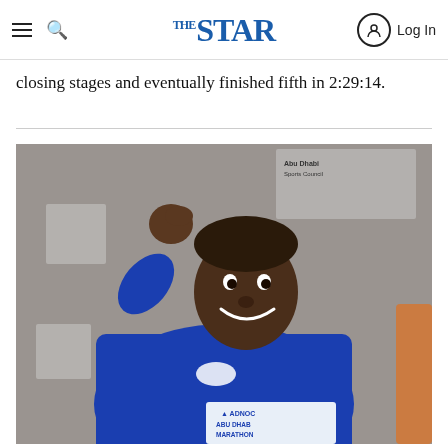THE STAR — Log In
closing stages and eventually finished fifth in 2:29:14.
[Figure (photo): A smiling athlete in a blue Nike jacket raises his fist in celebration at the ADNOC Abu Dhabi Marathon event. Abu Dhabi Sports Council banners visible in background.]